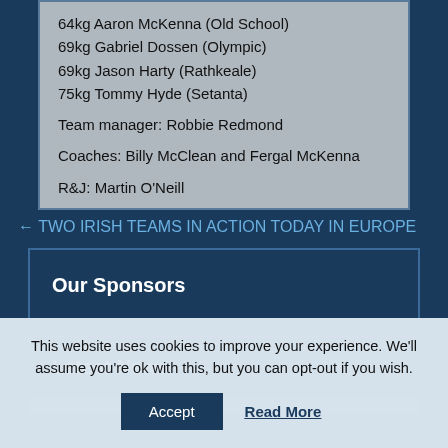64kg Aaron McKenna (Old School)
69kg Gabriel Dossen (Olympic)
69kg Jason Harty (Rathkeale)
75kg Tommy Hyde (Setanta)
Team manager: Robbie Redmond
Coaches: Billy McClean and Fergal McKenna
R&J: Martin O'Neill
← TWO IRISH TEAMS IN ACTION TODAY IN EUROPE
Our Sponsors
Latest News
This website uses cookies to improve your experience. We'll assume you're ok with this, but you can opt-out if you wish.
Accept
Read More